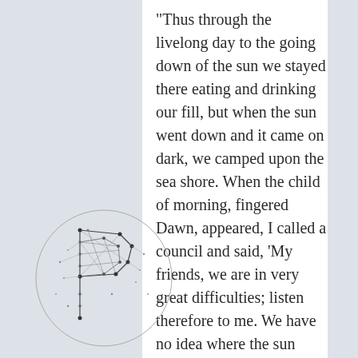"Thus through the livelong day to the going down of the sun we stayed there eating and drinking our fill, but when the sun went down and it came on dark, we camped upon the sea shore. When the child of morning, fingered Dawn, appeared, I called a council and said, ‘My friends, we are in very great difficulties; listen therefore to me. We have no idea where the sun either sets or rises, so that we do not even know East from West. I see no way out of it; nevertheless, we must try
[Figure (logo): A circular logo featuring a geometric/wireframe letter P made of interconnected lines and dots, resembling a constellation or network graph.]